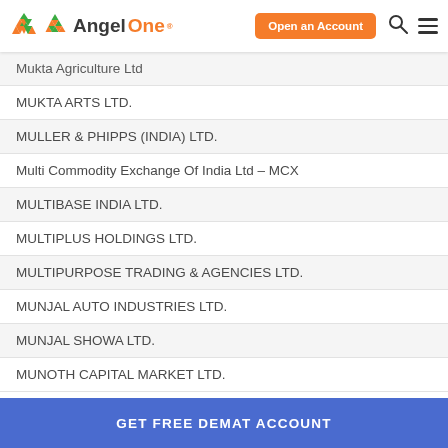AngelOne — Open an Account
Mukta Agriculture Ltd
MUKTA ARTS LTD.
MULLER & PHIPPS (INDIA) LTD.
Multi Commodity Exchange Of India Ltd – MCX
MULTIBASE INDIA LTD.
MULTIPLUS HOLDINGS LTD.
MULTIPURPOSE TRADING & AGENCIES LTD.
MUNJAL AUTO INDUSTRIES LTD.
MUNJAL SHOWA LTD.
MUNOTH CAPITAL MARKET LTD.
GET FREE DEMAT ACCOUNT